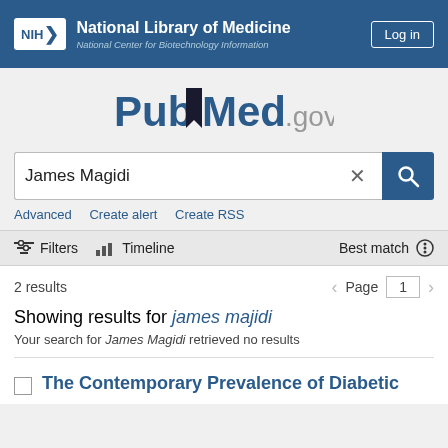NIH National Library of Medicine National Center for Biotechnology Information | Log in
[Figure (logo): PubMed.gov logo with bookmark icon]
James Magidi
Advanced   Create alert   Create RSS
Filters   Timeline   Best match
2 results   Page 1
Showing results for james majidi
Your search for James Magidi retrieved no results
The Contemporary Prevalence of Diabetic